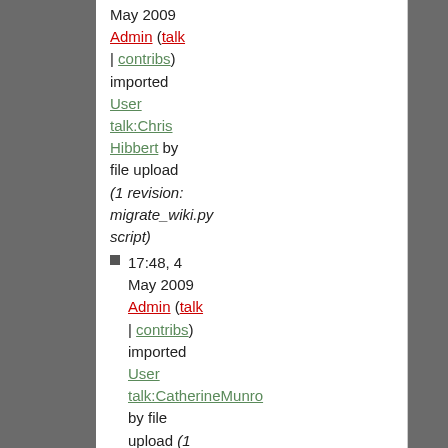May 2009 Admin (talk | contribs) imported User talk:Chris Hibbert by file upload (1 revision: migrate_wiki.py script)
17:48, 4 May 2009 Admin (talk | contribs) imported User talk:CatherineMunro by file upload (1 revision: migrate_wiki.py script)
17:48, 4